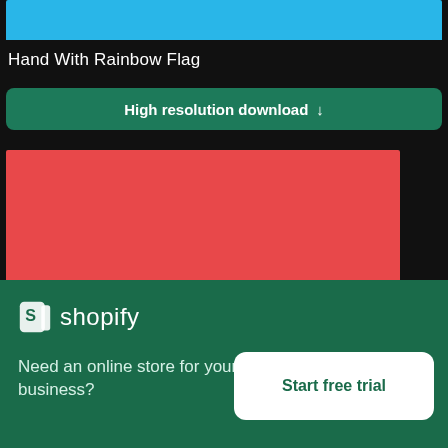[Figure (photo): Cyan/blue colored image strip at top]
Hand With Rainbow Flag
High resolution download ↓
[Figure (photo): Red background image with decorative flower/lotus design in silver]
[Figure (logo): Shopify logo and advertisement banner with text: Need an online store for your business? Start free trial]